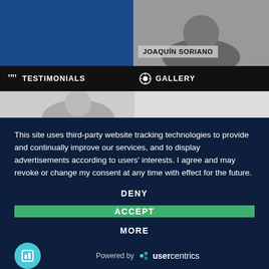[Figure (screenshot): Top left: dark blue rectangle background]
[Figure (screenshot): Top right: grayscale photo of a person with name label 'JOAQUÍN SORIANO']
" TESTIMONIALS
GALLERY
This site uses third-party website tracking technologies to provide and continually improve our services, and to display advertisements according to users' interests. I agree and may revoke or change my consent at any time with effect for the future.
DENY
ACCEPT
MORE
Powered by usercentrics